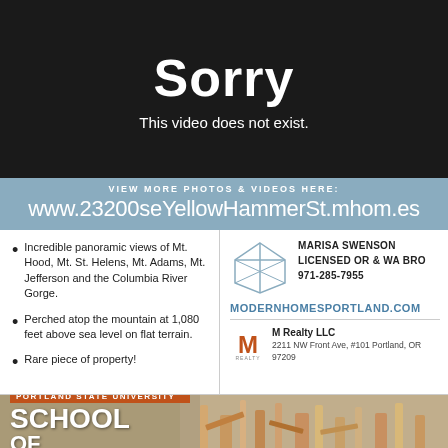[Figure (screenshot): Black background video error screen showing 'Sorry' in large bold white text and 'This video does not exist.' below it]
VIEW MORE PHOTOS & VIDEOS HERE:
www.23200seYellowHammerSt.mhom.es
Incredible panoramic views of Mt. Hood, Mt. St. Helens, Mt. Adams, Mt. Jefferson and the Columbia River Gorge.
Perched atop the mountain at 1,080 feet above sea level on flat terrain.
Rare piece of property!
[Figure (logo): Diamond/house outline logo for real estate agent]
MARISA SWENSON
LICENSED OR & WA BRO
971-285-7955
MODERNHOMESPORTLAND.COM
[Figure (logo): M Realty LLC logo]
M Realty LLC
2211 NW Front Ave, #101 Portland, OR 97209
[Figure (photo): Portland State University School of Architecture banner showing wooden architectural models]